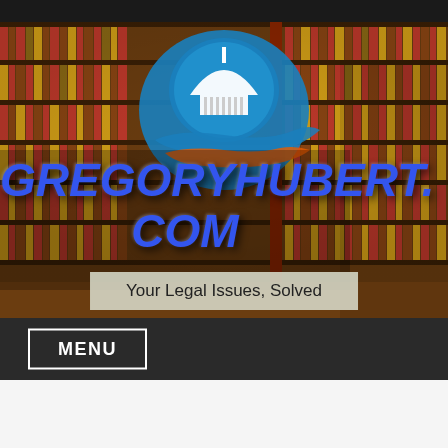[Figure (screenshot): Legal website screenshot showing law book shelves background with a Capitol building logo, site title GREGORYHUBERT.COM in large blue italic text, tagline box, and menu bar]
GREGORYHUBERT.COM
Your Legal Issues, Solved
MENU